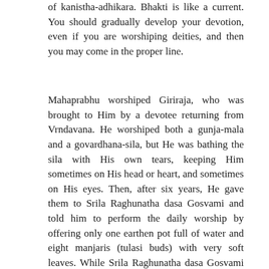of kanistha-adhikara. Bhakti is like a current. You should gradually develop your devotion, even if you are worshiping deities, and then you may come in the proper line.
Mahaprabhu worshiped Giriraja, who was brought to Him by a devotee returning from Vrndavana. He worshiped both a gunja-mala and a govardhana-sila, but He was bathing the sila with His own tears, keeping Him sometimes on His head or heart, and sometimes on His eyes. Then, after six years, He gave them to Srila Raghunatha dasa Gosvami and told him to perform the daily worship by offering only one earthen pot full of water and eight manjaris (tulasi buds) with very soft leaves. While Srila Raghunatha dasa Gosvami was worshiping them, he was thinking that the gunja-mala is Radhika, and Giriraja is Nandanandana, Vrajendra-nandana Syamasundara. He was thinking that He was serving